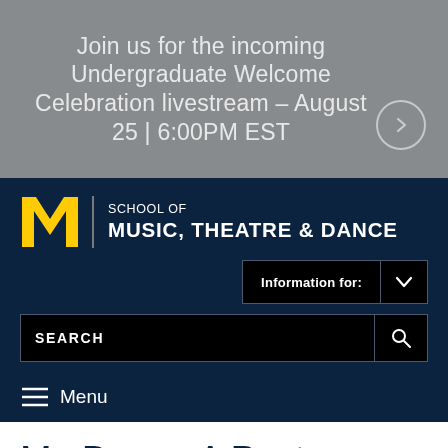Join us for the incoming Undergraduate Welcome Celebration livestream – August 25 | 6:00PM EST
[Figure (logo): University of Michigan block M logo with School of Music, Theatre & Dance wordmark]
Information for:
SEARCH
Menu
Mr. Burns: A Post-Electric